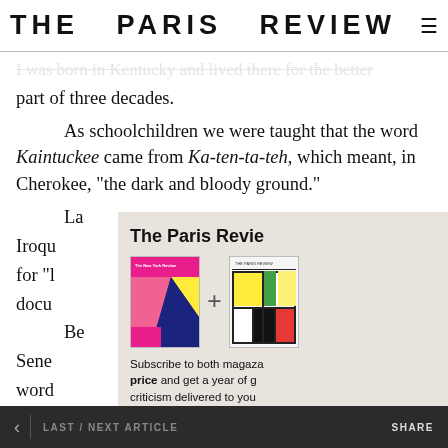THE PARIS REVIEW
I was born in Kentucky and lived there for the better part of three decades.
As schoolchildren we were taught that the word Kaintuckee came from Ka-ten-ta-teh, which meant, in Cherokee, "the dark and bloody ground."
La... Iroqu... for "l... docu...
[Figure (infographic): The Paris Review subscription modal overlay showing New York Review and Paris Review magazine covers with a + sign, text about subscribing to both magazines, and a blue Subscribe Now button]
Be... Sene... word...
A... not a... its pristine state had seemed to its settlers to be nothing...
< LAST / NEXT ARTICLE   SHARE